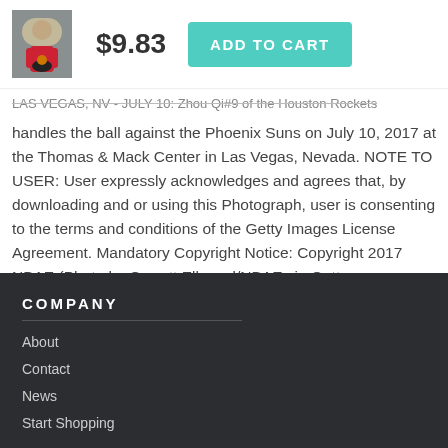[Figure (photo): Small thumbnail of a basketball player in dark uniform dribbling a ball]
$9.83
ADD TO CART
LAS VEGAS, NV - JULY 10: Zhou Qi #9 of the Houston Rockets handles the ball against the Phoenix Suns on July 10, 2017 at the Thomas & Mack Center in Las Vegas, Nevada. NOTE TO USER: User expressly acknowledges and agrees that, by downloading and or using this Photograph, user is consenting to the terms and conditions of the Getty Images License Agreement. Mandatory Copyright Notice: Copyright 2017 NBAE (Photo by Garrett Ellwood/NBAE via Getty Images)Image provided by Getty Images.
COMPANY
About
Contact
News
Start Shopping